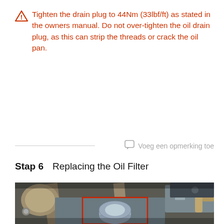Tighten the drain plug to 44Nm (33lbf/ft) as stated in the owners manual. Do not over-tighten the oil drain plug, as this can strip the threads or crack the oil pan.
Voeg een opmerking toe
Stap 6    Replacing the Oil Filter
[Figure (photo): Close-up photograph of an engine bay showing an oil filter (a round cylindrical metal component) highlighted with a red rectangle outline. Various engine components and a drive belt are visible in the background.]